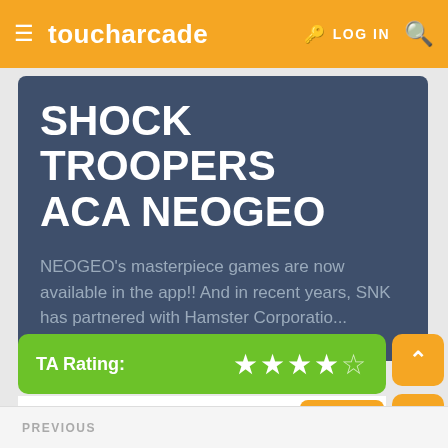toucharcade  LOG IN
SHOCK TROOPERS ACA NEOGEO
NEOGEO's masterpiece games are now available in the app!! And in recent years, SNK has partnered with Hamster Corporatio...
TA Rating: ★★★★½
$3.99  Buy Now
PREVIOUS